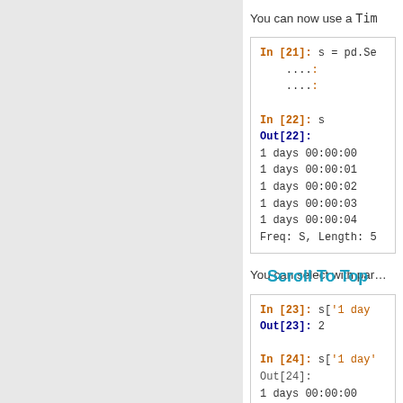You can now use a Tim…
[Figure (screenshot): Jupyter notebook code cell In [21] and In [22] with Out[22] showing timedelta series output]
You can select with par…
[Figure (screenshot): Jupyter notebook code cells In [23], Out[23], In [24], Out[24] showing timedelta selection]